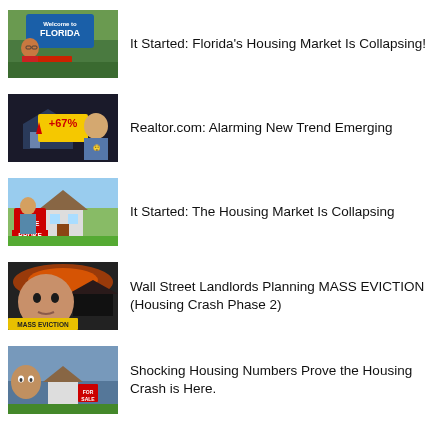[Figure (screenshot): Thumbnail: Man with glasses in front of Florida welcome sign with SALE sign, green outdoor background]
It Started: Florida’s Housing Market Is Collapsing!
[Figure (screenshot): Thumbnail: Man reacting to +67% red arrow on yellow sign, housing image background]
Realtor.com: Alarming New Trend Emerging
[Figure (screenshot): Thumbnail: Man holding For Sale BROKE sign in front of suburban house]
It Started: The Housing Market Is Collapsing
[Figure (screenshot): Thumbnail: Man's face with MASS EVICTION text overlay on dark/fiery background]
Wall Street Landlords Planning MASS EVICTION (Housing Crash Phase 2)
[Figure (screenshot): Thumbnail: Man in front of house with for sale sign, news-style screenshot]
Shocking Housing Numbers Prove the Housing Crash is Here.